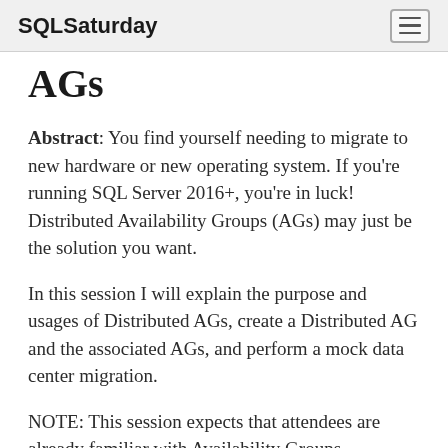SQLSaturday
AGs
Abstract: You find yourself needing to migrate to new hardware or new operating system. If you're running SQL Server 2016+, you're in luck! Distributed Availability Groups (AGs) may just be the solution you want.
In this session I will explain the purpose and usages of Distributed AGs, create a Distributed AG and the associated AGs, and perform a mock data center migration.
NOTE: This session expects that attendees are already familiar with Availability Groups.